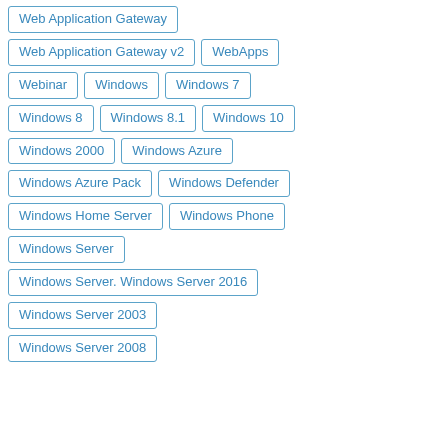Web Application Gateway
Web Application Gateway v2
WebApps
Webinar
Windows
Windows 7
Windows 8
Windows 8.1
Windows 10
Windows 2000
Windows Azure
Windows Azure Pack
Windows Defender
Windows Home Server
Windows Phone
Windows Server
Windows Server. Windows Server 2016
Windows Server 2003
Windows Server 2008